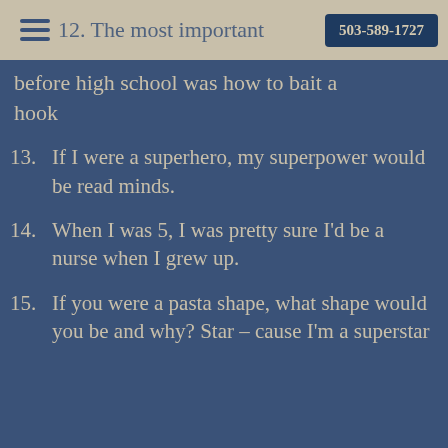503-589-1727
12. ... the most important thing I learned before high school was how to bait a hook
13. If I were a superhero, my superpower would be read minds.
14. When I was 5, I was pretty sure I'd be a nurse when I grew up.
15. If you were a pasta shape, what shape would you be and why? Star – cause I'm a superstar